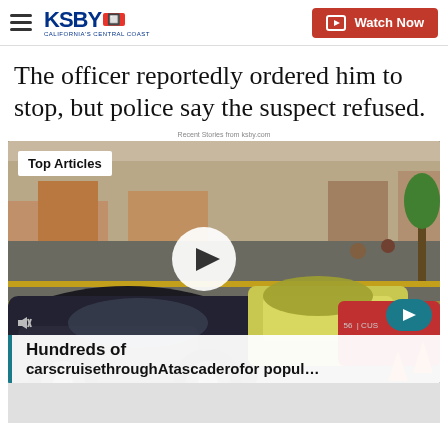KSBY California's Central Coast | Watch Now
The officer reportedly ordered him to stop, but police say the suspect refused.
Recent Stories from ksby.com
[Figure (screenshot): Video thumbnail showing a street scene with classic cars cruising, overlaid with 'Top Articles' badge, a play button, mute icon, arrow navigation button, and score/channel indicator '56 | CWS']
Hundreds of carscruisethroughAtascaderofor popul...